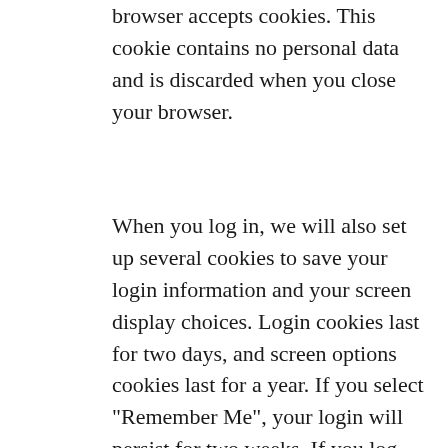browser accepts cookies. This cookie contains no personal data and is discarded when you close your browser.
When you log in, we will also set up several cookies to save your login information and your screen display choices. Login cookies last for two days, and screen options cookies last for a year. If you select “Remember Me”, your login will persist for two weeks. If you log out of your account, the login cookies will be removed.
EMBEDDED CONTENT FROM OTHER WEBSITES
[Figure (screenshot): Cookie consent banner with dark green background. Text reads: 'By continuing to use the site, you agree to the use of cookies.' Two buttons: 'more information' (underlined text) and 'Accept' (grey button). Partially overlays the text below.]
Articles on this site may include embedded content (e.g. videos, images, articles, ...). Embedded content from other websites behaves in the exact same way as if the visitor has visited the other website.